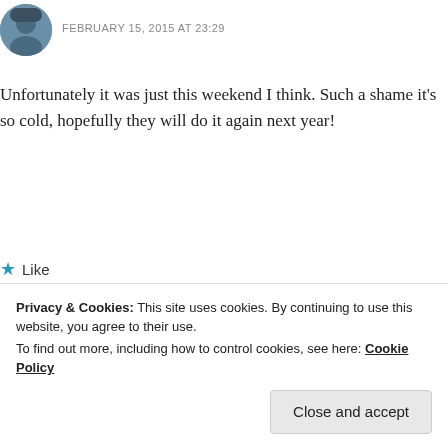[Figure (photo): Circular avatar photo of a person wearing a hat, outdoors]
FEBRUARY 15, 2015 AT 23:29
Unfortunately it was just this weekend I think. Such a shame it's so cold, hopefully they will do it again next year!
★ Like
REPLY
Privacy & Cookies: This site uses cookies. By continuing to use this website, you agree to their use.
To find out more, including how to control cookies, see here: Cookie Policy
Close and accept